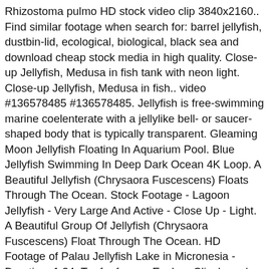Rhizostoma pulmo HD stock video clip 3840x2160.. Find similar footage when search for: barrel jellyfish, dustbin-lid, ecological, biological, black sea and download cheap stock media in high quality. Close-up Jellyfish, Medusa in fish tank with neon light. Close-up Jellyfish, Medusa in fish.. video #136578485 #136578485. Jellyfish is free-swimming marine coelenterate with a jellylike bell- or saucer-shaped body that is typically transparent. Gleaming Moon Jellyfish Floating In Aquarium Pool. Blue Jellyfish Swimming In Deep Dark Ocean 4K Loop. A Beautiful Jellyfish (Chrysaora Fuscescens) Floats Through The Ocean. Stock Footage - Lagoon Jellyfish - Very Large And Active - Close Up - Light. A Beautiful Group Of Jellyfish (Chrysaora Fuscescens) Float Through The Ocean. HD Footage of Palau Jellyfish Lake in Micronesia - Duration: 1:34. Try for free — Explore Clipchamp's stock footage. Find professional Moon Jellyfish videos and B-roll stock footage available for license in film, television, advertising and corporate uses. Multi-colored neon jellyfish swims. Create even more, even faster with Storyblocks. Sign Up. The Aurelia & Johnson jellyfish in the Black Sea. Blue...